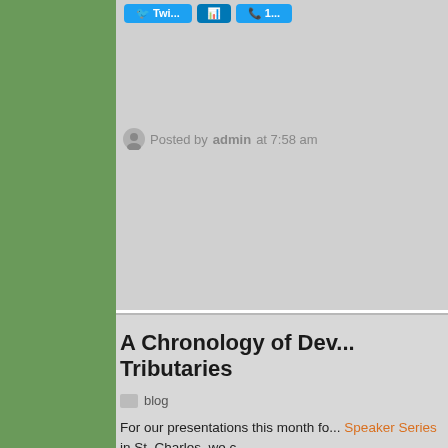[Figure (screenshot): Social share buttons: Twitter, LinkedIn, and another blue button partially visible]
Posted by admin at 7:58 am
A Chronology of Dev... Tributaries
blog
For our presentations this month fo... Speaker Series in St. Charles, we c...
A Chronology o...
• 1813 – The Osages and Chouteau... instead of on the Osage, near their... transportation.